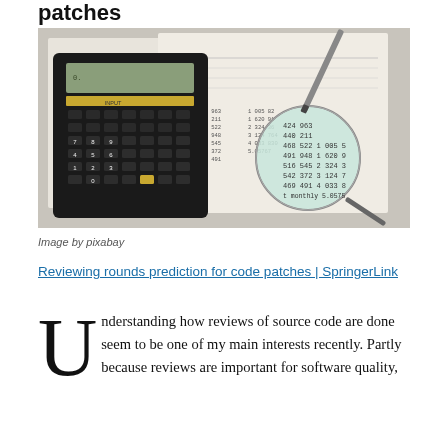patches
[Figure (photo): Photo of a calculator, pen, and financial documents with a magnifying glass highlighting columns of numbers, suggesting financial analysis or code review metrics.]
Image by pixabay
Reviewing rounds prediction for code patches | SpringerLink
Understanding how reviews of source code are done seem to be one of my main interests recently. Partly because reviews are important for software quality,